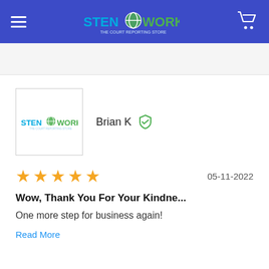StenoWorks - The Court Reporting Store
[Figure (logo): StenoWorks logo with shopping cart icon in blue header]
Brian K
★★★★★  05-11-2022
Wow, Thank You For Your Kindne...
One more step for business again!
Read More